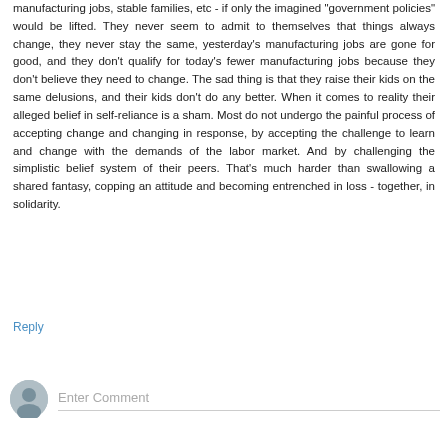manufacturing jobs, stable families, etc - if only the imagined "government policies" would be lifted. They never seem to admit to themselves that things always change, they never stay the same, yesterday's manufacturing jobs are gone for good, and they don't qualify for today's fewer manufacturing jobs because they don't believe they need to change. The sad thing is that they raise their kids on the same delusions, and their kids don't do any better. When it comes to reality their alleged belief in self-reliance is a sham. Most do not undergo the painful process of accepting change and changing in response, by accepting the challenge to learn and change with the demands of the labor market. And by challenging the simplistic belief system of their peers. That's much harder than swallowing a shared fantasy, copping an attitude and becoming entrenched in loss - together, in solidarity.
Reply
Enter Comment